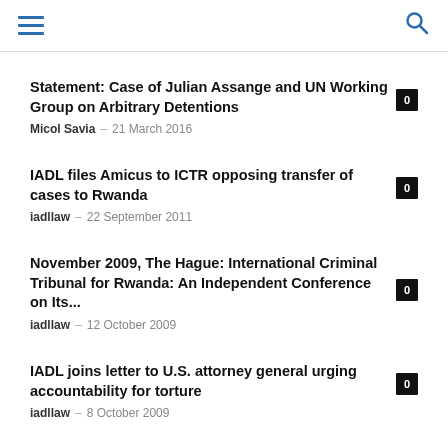Navigation menu and search icon
Statement: Case of Julian Assange and UN Working Group on Arbitrary Detentions — Micol Savia — 21 March 2016 — 0
IADL files Amicus to ICTR opposing transfer of cases to Rwanda — iadllaw — 22 September 2011 — 0
November 2009, The Hague: International Criminal Tribunal for Rwanda: An Independent Conference on Its... — iadllaw — 12 October 2009 — 0
IADL joins letter to U.S. attorney general urging accountability for torture — iadllaw — 8 October 2009 — 0